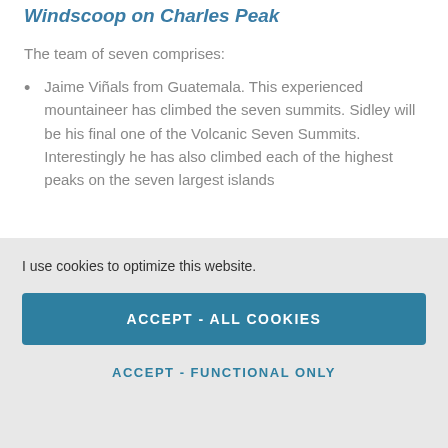Windscoop on Charles Peak
The team of seven comprises:
Jaime Viñals from Guatemala. This experienced mountaineer has climbed the seven summits. Sidley will be his final one of the Volcanic Seven Summits. Interestingly he has also climbed each of the highest peaks on the seven largest islands
I use cookies to optimize this website.
ACCEPT - ALL COOKIES
ACCEPT - FUNCTIONAL ONLY